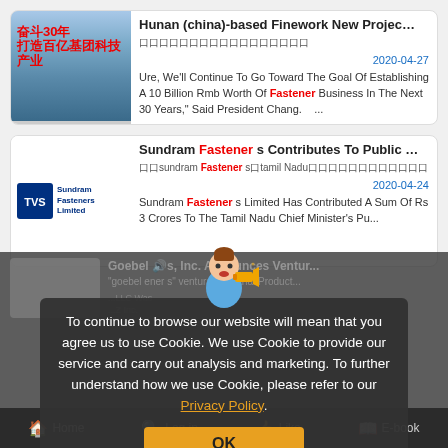[Figure (screenshot): News article card 1: Hunan China-based Finework New Project article with Chinese building image thumbnail, dated 2020-04-27]
Hunan (china)-based Finework New Projec…
口口口口口口口口口口口口口口口口口
2020-04-27
Ure, We'll Continue To Go Toward The Goal Of Establishing A 10 Billion Rmb Worth Of Fastener Business In The Next 30 Years," Said President Chang.    ...
[Figure (screenshot): News article card 2: Sundram Fastener s Contributes To Public article with Sundram Fasteners Limited logo thumbnail, dated 2020-04-24]
Sundram Fastener s Contributes To Public …
口口sundram Fastener s口tamil Nadu口口口口口口口口口口口口
2020-04-24
Sundram Fastener s Limited Has Contributed A Sum Of Rs 3 Crores To The Tamil Nadu Chief Minister's Pu...
[Figure (screenshot): Partially visible third news card: Goebel Inc. Announces Ventur... with dimmed/greyed overlay background]
To continue to browse our website will mean that you agree us to use Cookie. We use Cookie to provide our service and carry out analysis and marketing. To further understand how we use Cookie, please refer to our Privacy Policy.
OK
Home   Log in   Like   E-book